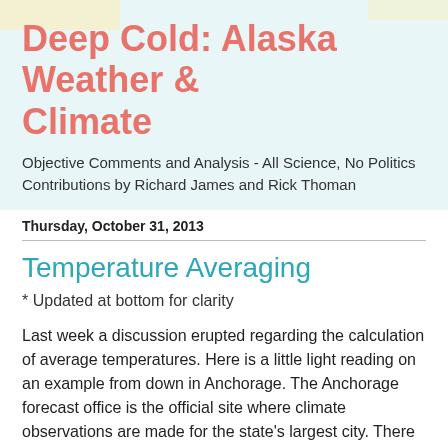Deep Cold: Alaska Weather & Climate
Objective Comments and Analysis - All Science, No Politics
Contributions by Richard James and Rick Thoman
Thursday, October 31, 2013
Temperature Averaging
* Updated at bottom for clarity
Last week a discussion erupted regarding the calculation of average temperatures. Here is a little light reading on an example from down in Anchorage. The Anchorage forecast office is the official site where climate observations are made for the state's largest city. There is a thermometer on the site that publishes temperatures every 10 minutes. Some DAFC